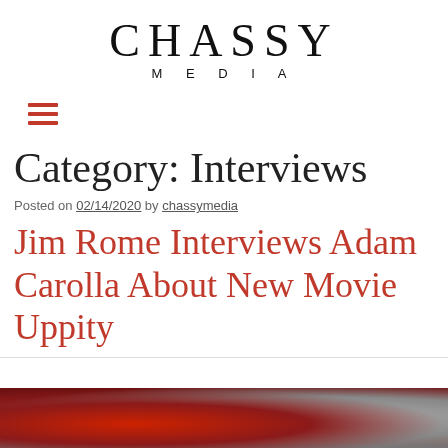CHASSY MEDIA
[Figure (other): Hamburger menu icon (three horizontal red lines)]
Category: Interviews
Posted on 02/14/2020 by chassymedia
Jim Rome Interviews Adam Carolla About New Movie Uppity
[Figure (photo): Photo showing a person wearing a red hat, partially visible at the bottom of the page]